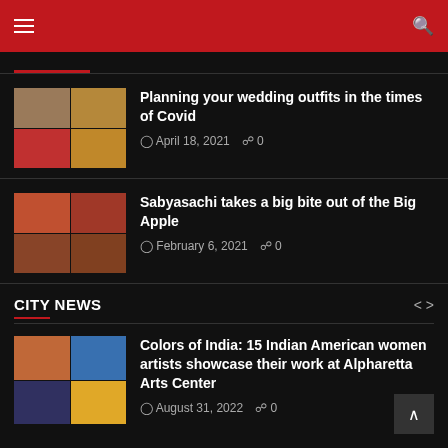Navigation header with hamburger menu and search icon
Planning your wedding outfits in the times of Covid
April 18, 2021  0
Sabyasachi takes a big bite out of the Big Apple
February 6, 2021  0
CITY NEWS
Colors of India: 15 Indian American women artists showcase their work at Alpharetta Arts Center
August 31, 2022  0